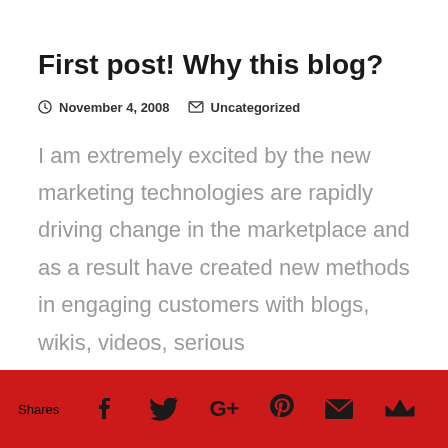First post! Why this blog?
November 4, 2008  Uncategorized
I am extremely excited by the new marketing technologies are rapidly driving change in the marketplace and as a result have created new methods in engaging customers with blogs, wikis, videos, serious
Shares